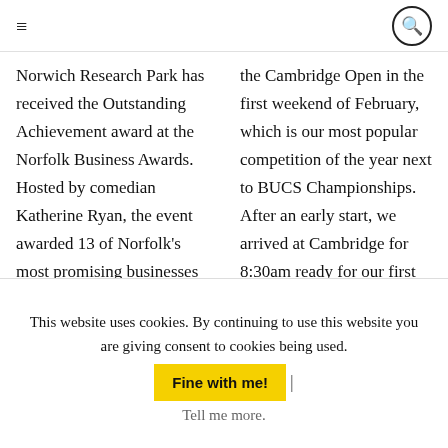≡  🔍
Norwich Research Park has received the Outstanding Achievement award at the Norfolk Business Awards. Hosted by comedian Katherine Ryan, the event awarded 13 of Norfolk's most promising businesses in front of 550 guests – the
the Cambridge Open in the first weekend of February, which is our most popular competition of the year next to BUCS Championships. After an early start, we arrived at Cambridge for 8:30am ready for our first competitor's routine at
This website uses cookies. By continuing to use this website you are giving consent to cookies being used.
Fine with me! |
Tell me more.